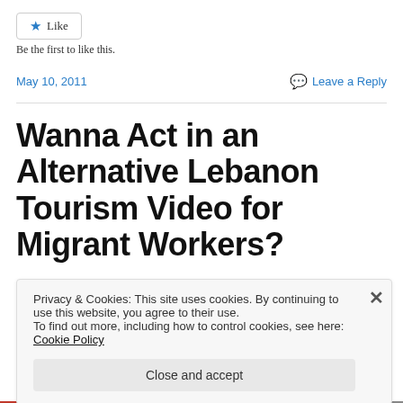[Figure (other): Like button widget with star icon]
Be the first to like this.
May 10, 2011    Leave a Reply
Wanna Act in an Alternative Lebanon Tourism Video for Migrant Workers?
Privacy & Cookies: This site uses cookies. By continuing to use this website, you agree to their use.
To find out more, including how to control cookies, see here: Cookie Policy
Close and accept